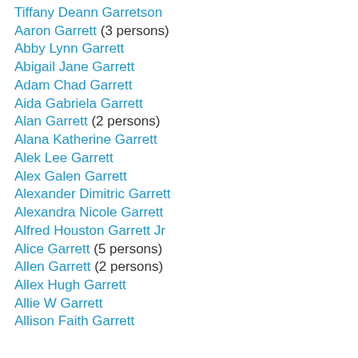Tiffany Deann Garretson
Aaron Garrett (3 persons)
Abby Lynn Garrett
Abigail Jane Garrett
Adam Chad Garrett
Aida Gabriela Garrett
Alan Garrett (2 persons)
Alana Katherine Garrett
Alek Lee Garrett
Alex Galen Garrett
Alexander Dimitric Garrett
Alexandra Nicole Garrett
Alfred Houston Garrett Jr
Alice Garrett (5 persons)
Allen Garrett (2 persons)
Allex Hugh Garrett
Allie W Garrett
Allison Faith Garrett